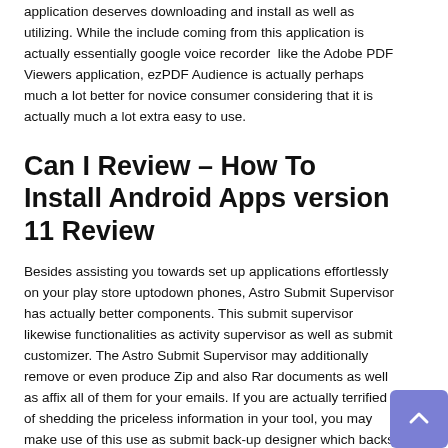application deserves downloading and install as well as utilizing. While the include coming from this application is actually essentially google voice recorder like the Adobe PDF Viewers application, ezPDF Audience is actually perhaps much a lot better for novice consumer considering that it is actually much a lot extra easy to use.
Can I Review – How To Install Android Apps version 11 Review
Besides assisting you towards set up applications effortlessly on your play store uptodown phones, Astro Submit Supervisor has actually better components. This submit supervisor likewise functionalities as activity supervisor as well as submit customizer. The Astro Submit Supervisor may additionally remove or even produce Zip and also Rar documents as well as affix all of them for your emails. If you are actually terrified of shedding the priceless information in your tool, you may make use of this use as submit back-up designer which backs up the applications as well as information coming from your telephone towards its own sd card. Along with the Astro Submit Supervisor, you can easily additionally examine the efficiency of your kingroot android 10 How To Install Android Apps version 11 Review